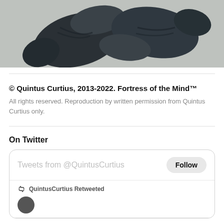[Figure (photo): Photo of dark grey/black socks lying on a light grey textured carpet/surface, viewed from above.]
© Quintus Curtius, 2013-2022. Fortress of the Mind™
All rights reserved. Reproduction by written permission from Quintus Curtius only.
On Twitter
Tweets from @QuintusCurtius
Follow
QuintusCurtius Retweeted